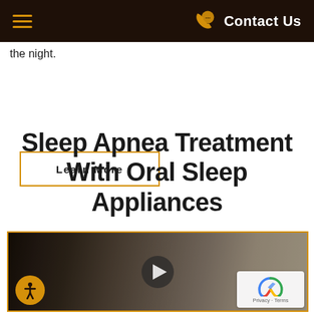Contact Us
the night.
Learn More
Sleep Apnea Treatment With Oral Sleep Appliances
[Figure (photo): A medical professional wearing glasses and a mask working closely on a patient or equipment, seen from close range in a clinical setting. A video play button overlay is visible in the center.]